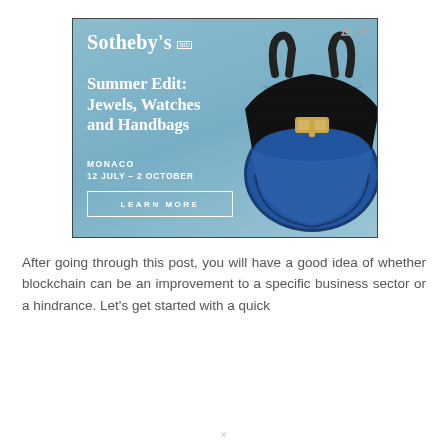[Figure (illustration): Sotheby's advertisement banner for 'Summer Edit: Jewels, Watches and Handbags' event in Monaco, 12 July – 2 October. Features a dark navy/black crocodile-textured Birkin-style handbag on a blue background with a 'Learn More' button.]
After going through this post, you will have a good idea of whether blockchain can be an improvement to a specific business sector or a hindrance. Let's get started with a quick